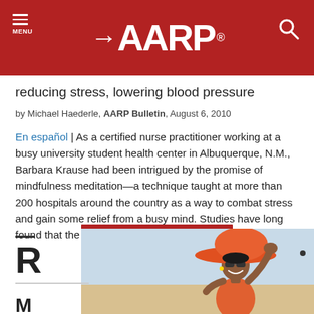AARP
reducing stress, lowering blood pressure
by Michael Haederle, AARP Bulletin, August 6, 2010
En español | As a certified nurse practitioner working at a busy university student health center in Albuquerque, N.M., Barbara Krause had been intrigued by the promise of mindfulness meditation—a technique taught at more than 200 hospitals around the country as a way to combat stress and gain some relief from a busy mind. Studies have long found that the practice lowers blood pressure, din
[Figure (photo): Woman in orange hat and sunglasses smiling at the beach]